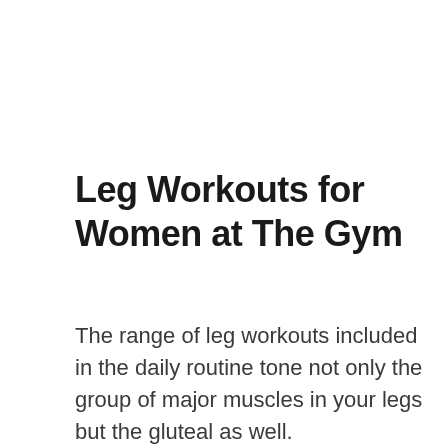Leg Workouts for Women at The Gym
The range of leg workouts included in the daily routine tone not only the group of major muscles in your legs but the gluteal as well. Strengthening these powerful muscles, which allow you to run fast, jump high and climb stairs, can make it easier for you to take part in your beloved activities, from gardening to play